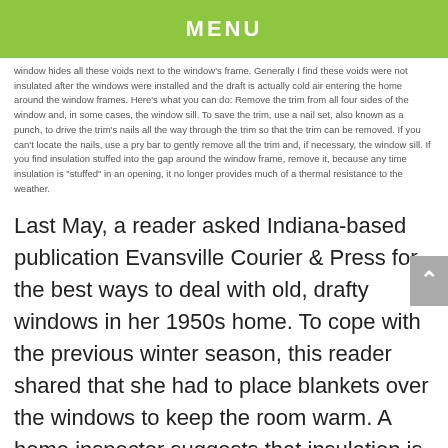MENU
window hides all these voids next to the window's frame. Generally I find these voids were not insulated after the windows were installed and the draft is actually cold air entering the home around the window frames. Here's what you can do: Remove the trim from all four sides of the window and, in some cases, the window sill. To save the trim, use a nail set, also known as a punch, to drive the trim's nails all the way through the trim so that the trim can be removed. If you can't locate the nails, use a pry bar to gently remove all the trim and, if necessary, the window sill. If you find insulation stuffed into the gap around the window frame, remove it, because any time insulation is "stuffed" in an opening, it no longer provides much of a thermal resistance to the weather.
Last May, a reader asked Indiana-based publication Evansville Courier & Press for the best ways to deal with old, drafty windows in her 1950s home. To cope with the previous winter season, this reader shared that she had to place blankets over the windows to keep the room warm. A home inspector suggests that insulation is key to fixing old, drafty windows.